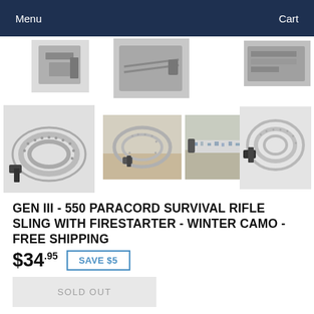Menu  Cart
[Figure (photo): Product thumbnail images of paracord survival rifle slings in winter camo pattern, shown from multiple angles]
GEN III - 550 PARACORD SURVIVAL RIFLE SLING WITH FIRESTARTER - WINTER CAMO - FREE SHIPPING
$34.95  SAVE $5
SOLD OUT